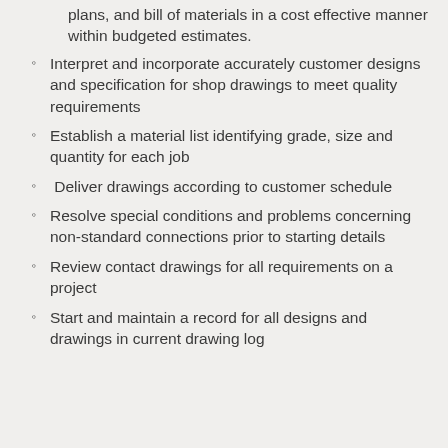plans, and bill of materials in a cost effective manner within budgeted estimates.
Interpret and incorporate accurately customer designs and specification for shop drawings to meet quality requirements
Establish a material list identifying grade, size and quantity for each job
Deliver drawings according to customer schedule
Resolve special conditions and problems concerning non-standard connections prior to starting details
Review contact drawings for all requirements on a project
Start and maintain a record for all designs and drawings in current drawing log